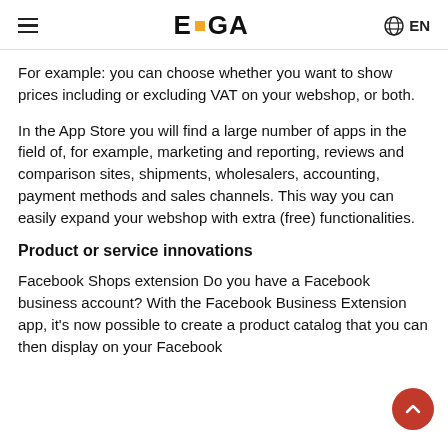E·GA  EN
For example: you can choose whether you want to show prices including or excluding VAT on your webshop, or both.
In the App Store you will find a large number of apps in the field of, for example, marketing and reporting, reviews and comparison sites, shipments, wholesalers, accounting, payment methods and sales channels. This way you can easily expand your webshop with extra (free) functionalities.
Product or service innovations
Facebook Shops extension Do you have a Facebook business account? With the Facebook Business Extension app, it's now possible to create a product catalog that you can then display on your Facebook